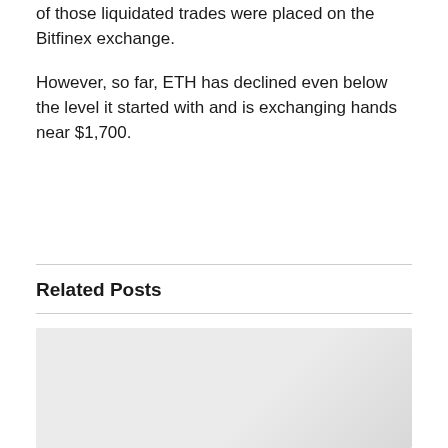of those liquidated trades were placed on the Bitfinex exchange.
However, so far, ETH has declined even below the level it started with and is exchanging hands near $1,700.
Related Posts
[Figure (photo): Placeholder image thumbnail for a related post]